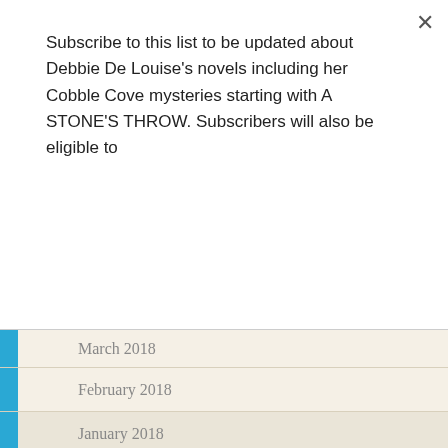Subscribe to this list to be updated about Debbie De Louise's novels including her Cobble Cove mysteries starting with A STONE'S THROW. Subscribers will also be eligible to
Subscribe
March 2018
February 2018
January 2018
December 2017
November 2017
October 2017
September 2017
August 2017
July 2017